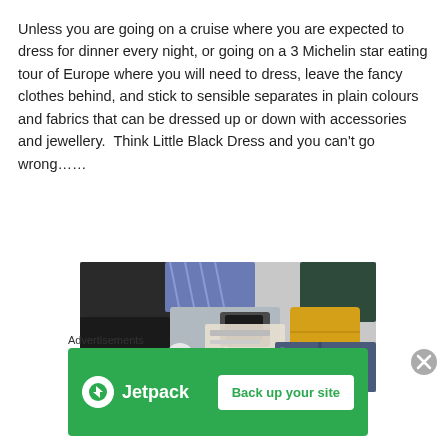Unless you are going on a cruise where you are expected to dress for dinner every night, or going on a 3 Michelin star eating tour of Europe where you will need to dress, leave the fancy clothes behind, and stick to sensible separates in plain colours and fabrics that can be dressed up or down with accessories and jewellery.  Think Little Black Dress and you can't go wrong……
[Figure (photo): Overhead photo of travel items spread out including clothes, a smartphone, documents, a yellow wallet/clutch, and other packing items on a white surface.]
Advertisements
[Figure (other): Jetpack advertisement banner with green background showing Jetpack logo on left and 'Back up your site' button on right.]